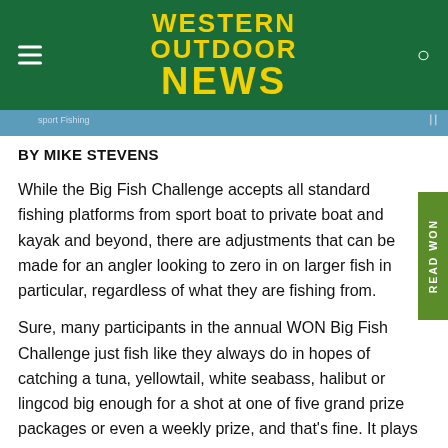WESTERN OUTDOOR NEWS
[Figure (screenshot): Partial image strip showing a photo, likely a fishing-related scene]
BY MIKE STEVENS
While the Big Fish Challenge accepts all standard fishing platforms from sport boat to private boat and kayak and beyond, there are adjustments that can be made for an angler looking to zero in on larger fish in particular, regardless of what they are fishing from.
Sure, many participants in the annual WON Big Fish Challenge just fish like they always do in hopes of catching a tuna, yellowtail, white seabass, halibut or lingcod big enough for a shot at one of five grand prize packages or even a weekly prize, and that's fine. It plays